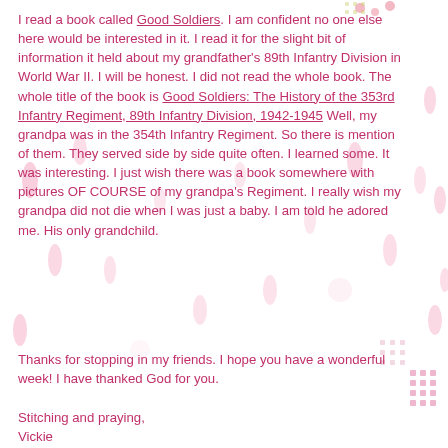I read a book called Good Soldiers. I am confident no one else here would be interested in it. I read it for the slight bit of information it held about my grandfather's 89th Infantry Division in World War II. I will be honest. I did not read the whole book. The whole title of the book is Good Soldiers: The History of the 353rd Infantry Regiment, 89th Infantry Division, 1942-1945 Well, my grandpa was in the 354th Infantry Regiment. So there is mention of them. They served side by side quite often. I learned some. It was interesting. I just wish there was a book somewhere with pictures OF COURSE of my grandpa's Regiment. I really wish my grandpa did not die when I was just a baby. I am told he adored me. His only grandchild.
Thanks for stopping in my friends. I hope you have a wonderful week! I have thanked God for you.
Stitching and praying,
Vickie